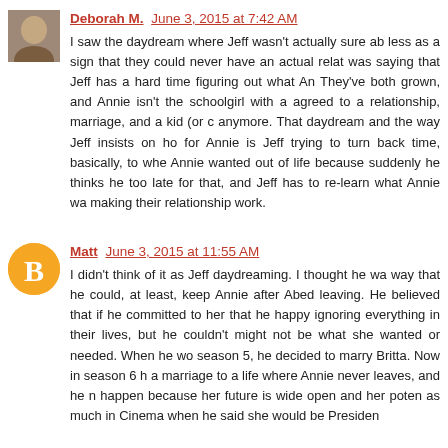Deborah M.  June 3, 2015 at 7:42 AM
I saw the daydream where Jeff wasn't actually sure ab less as a sign that they could never have an actual relat was saying that Jeff has a hard time figuring out what An They've both grown, and Annie isn't the schoolgirl with a agreed to a relationship, marriage, and a kid (or c anymore. That daydream and the way Jeff insists on ho for Annie is Jeff trying to turn back time, basically, to whe Annie wanted out of life because suddenly he thinks he too late for that, and Jeff has to re-learn what Annie wa making their relationship work.
Matt  June 3, 2015 at 11:55 AM
I didn't think of it as Jeff daydreaming. I thought he wa way that he could, at least, keep Annie after Abed leaving. He believed that if he committed to her that he happy ignoring everything in their lives, but he couldn't might not be what she wanted or needed. When he wo season 5, he decided to marry Britta. Now in season 6 h a marriage to a life where Annie never leaves, and he n happen because her future is wide open and her poten as much in Cinema when he said she would be Presiden

The reality is as you get older you meet people younge attractive, talented, and occasionally, insanely compatibl us attempt to participate in their success, maybe secretly to the more comfortable for the six difficulties do